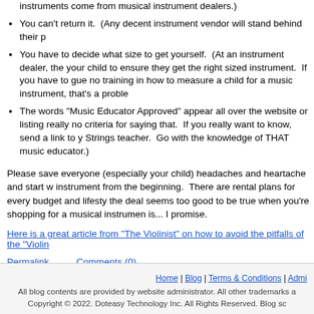instruments come from musical instrument dealers.)
You can't return it. (Any decent instrument vendor will stand behind their p
You have to decide what size to get yourself. (At an instrument dealer, the your child to ensure they get the right sized instrument. If you have to gue no training in how to measure a child for a music instrument, that's a proble
The words "Music Educator Approved" appear all over the website or listing really no criteria for saying that. If you really want to know, send a link to y Strings teacher. Go with the knowledge of THAT music educator.)
Please save everyone (especially your child) headaches and heartache and start instrument from the beginning. There are rental plans for every budget and lifesty the deal seems too good to be true when you're shopping for a musical instrumen is... I promise.
Here is a great article from "The Violinist" on how to avoid the pitfalls of the "Violin
Permalink    Comments (0)
Categories: Musical Instrument Pitfalls, Buyer Beware
Home | Blog | Terms & Conditions | Admi
All blog contents are provided by website administrator. All other trademarks a Copyright © 2022. Doteasy Technology Inc. All Rights Reserved. Blog sc